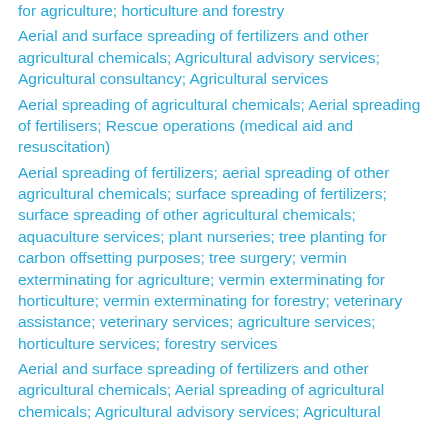for agriculture; horticulture and forestry
Aerial and surface spreading of fertilizers and other agricultural chemicals; Agricultural advisory services; Agricultural consultancy; Agricultural services
Aerial spreading of agricultural chemicals; Aerial spreading of fertilisers; Rescue operations (medical aid and resuscitation)
Aerial spreading of fertilizers; aerial spreading of other agricultural chemicals; surface spreading of fertilizers; surface spreading of other agricultural chemicals; aquaculture services; plant nurseries; tree planting for carbon offsetting purposes; tree surgery; vermin exterminating for agriculture; vermin exterminating for horticulture; vermin exterminating for forestry; veterinary assistance; veterinary services; agriculture services; horticulture services; forestry services
Aerial and surface spreading of fertilizers and other agricultural chemicals; Aerial spreading of agricultural chemicals; Agricultural advisory services; Agricultural